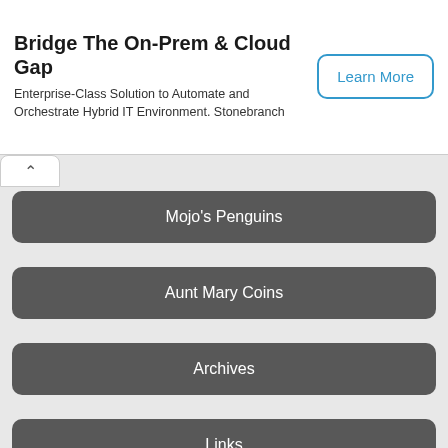Bridge The On-Prem & Cloud Gap
Enterprise-Class Solution to Automate and Orchestrate Hybrid IT Environment. Stonebranch
Learn More
Mojo's Penguins
Aunt Mary Coins
Archives
Links